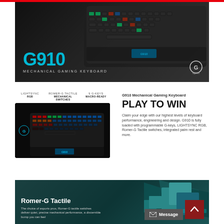[Figure (photo): Logitech G910 mechanical gaming keyboard hero banner on dark background with cyan G910 text and 'MECHANICAL GAMING KEYBOARD' subtitle and Logitech logo]
[Figure (photo): Logitech G910 keyboard product shot with RGB lighting on dark background, with feature badges: LIGHTSYNC RGB, ROMER-G TACTILE MECHANICAL SWITCHES, 9 G-KEYS MACRO-READY]
G910 Mechanical Gaming Keyboard
PLAY TO WIN
Claim your edge with our highest levels of keyboard performance, engineering and design. G910 is fully loaded with programmable G-keys, LIGHTSYNC RGB, Romer-G Tactile switches, integrated palm rest and more.
[Figure (photo): Dark teal/green section with 3D rendered blocky structure image on right and Romer-G Tactile section header]
Romer-G Tactile
The choice of esports pros, Romer-G tactile switches deliver quiet, precise mechanical performance, a discernible bump you can feel